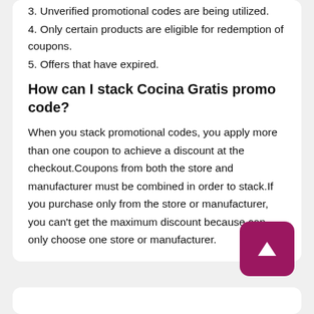3. Unverified promotional codes are being utilized.
4. Only certain products are eligible for redemption of coupons.
5. Offers that have expired.
How can I stack Cocina Gratis promo code?
When you stack promotional codes, you apply more than one coupon to achieve a discount at the checkout.Coupons from both the store and manufacturer must be combined in order to stack.If you purchase only from the store or manufacturer, you can't get the maximum discount because can only choose one store or manufacturer.